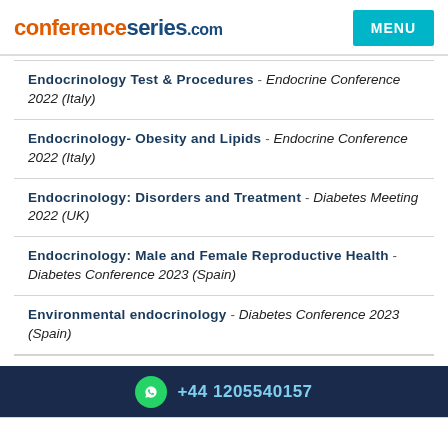conferenceseries.com
Endocrinology Test & Procedures - Endocrine Conference 2022 (Italy)
Endocrinology- Obesity and Lipids - Endocrine Conference 2022 (Italy)
Endocrinology: Disorders and Treatment - Diabetes Meeting 2022 (UK)
Endocrinology: Male and Female Reproductive Health - Diabetes Conference 2023 (Spain)
Environmental endocrinology - Diabetes Conference 2023 (Spain)
Female Reproductive Endocrinology - ENDOCRINOLOGY
+44 1205540157